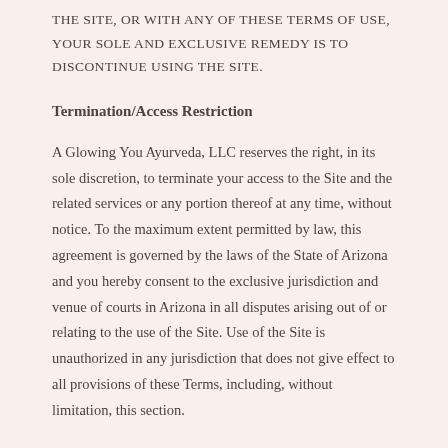THE SITE, OR WITH ANY OF THESE TERMS OF USE, YOUR SOLE AND EXCLUSIVE REMEDY IS TO DISCONTINUE USING THE SITE.
Termination/Access Restriction
A Glowing You Ayurveda, LLC reserves the right, in its sole discretion, to terminate your access to the Site and the related services or any portion thereof at any time, without notice. To the maximum extent permitted by law, this agreement is governed by the laws of the State of Arizona and you hereby consent to the exclusive jurisdiction and venue of courts in Arizona in all disputes arising out of or relating to the use of the Site. Use of the Site is unauthorized in any jurisdiction that does not give effect to all provisions of these Terms, including, without limitation, this section.